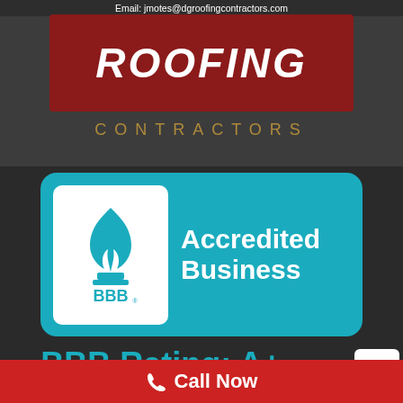Email: jmotes@dgroofingcontractors.com
[Figure (logo): DG Roofing Contractors logo with red background and gold CONTRACTORS text below]
[Figure (logo): BBB Accredited Business badge with teal background and white BBB logo]
BBB Rating: A+
Powered by APG Local
Call Now